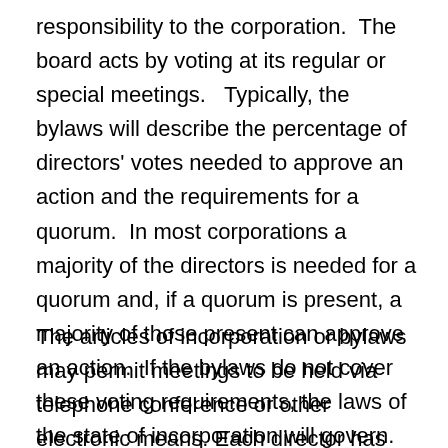responsibility to the corporation.  The board acts by voting at its regular or special meetings.   Typically, the bylaws will describe the percentage of directors' votes needed to approve an action and the requirements for a quorum.  In most corporations a majority of the directors is needed for a quorum and, if a quorum is present, a majority of those present can approve an action.  If the bylaws do not cover these voting requirements, the laws of the state of incorporation will govern.  Generally, state corporation laws require a majority of the directors for a quorum and majority of those present to approve an action.
The articles of incorporation or bylaws may permit meetings to be held via telephone conference or other electronic means. Each director has one vote, and voting by proxy is generally not permitted. The articles of